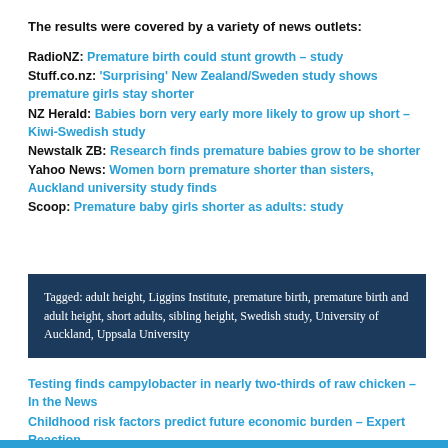The results were covered by a variety of news outlets:
RadioNZ: Premature birth could stunt growth – study
Stuff.co.nz: 'Surprising' New Zealand/Sweden study shows premature girls stay shorter
NZ Herald: Babies born very early more likely to grow up short – Kiwi-Swedish study
Newstalk ZB: Research finds premature babies grow to be shorter
Yahoo News: Women born premature shorter than sisters, Auckland university study finds
Scoop: Premature baby girls shorter as adults: study
Tagged: adult height, Liggins Institute, premature birth, premature birth and adult height, short adults, sibling height, Swedish study, University of Auckland, Uppsala University
Testing finds campylobacter in nearly two-thirds of raw chicken – In the News
Childhood risk factors predict future economic burden – Expert Reaction